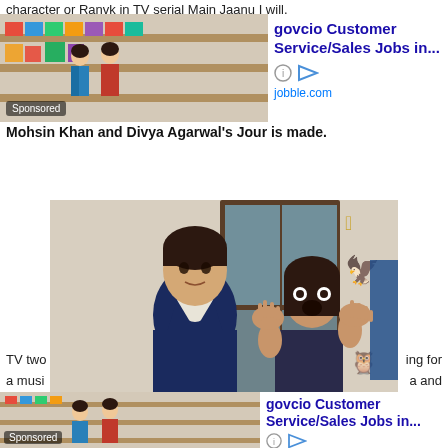character or Ranvk in TV serial Main Jaanu I will.
[Figure (photo): Advertisement banner for govcio Customer Service/Sales Jobs from jobble.com with a grocery store scene photo]
Mohsin Khan and Divya Agarwal's Jour is made.
[Figure (photo): Main image showing a young man in a navy suit and a woman in a dark strapless dress with her hands raised in surprise, standing in a stylized room with bird paintings on the wall]
TV two ing for a musi a and
[Figure (photo): Advertisement banner for govcio Customer Service/Sales Jobs from jobble.com with a grocery store scene photo]